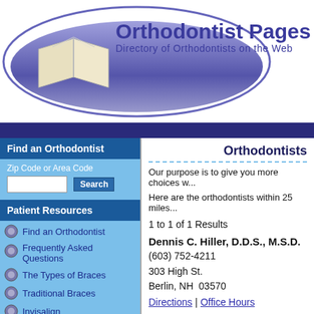[Figure (logo): Orthodontist Pages logo with open book illustration and oval banner, text reads 'Orthodontist Pages - Directory of Orthodontists on the Web']
Find an Orthodontist
Zip Code or Area Code
Patient Resources
Find an Orthodontist
Frequently Asked Questions
The Types of Braces
Traditional Braces
Invisalign
ClearCorrect
Self Ligating
Orthodontists
Our purpose is to give you more choices w...
Here are the orthodontists within 25 miles...
1 to 1 of 1 Results
Dennis C. Hiller, D.D.S., M.S.D.
(603) 752-4211
303 High St.
Berlin, NH  03570
Directions | Office Hours
Couldn't find a orthodontist you liked in thi... code above.